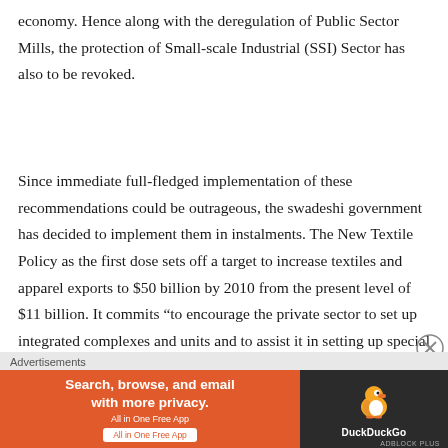economy. Hence along with the deregulation of Public Sector Mills, the protection of Small-scale Industrial (SSI) Sector has also to be revoked.
Since immediate full-fledged implementation of these recommendations could be outrageous, the swadeshi government has decided to implement them in instalments. The New Textile Policy as the first dose sets off a target to increase textiles and apparel exports to $50 billion by 2010 from the present level of $11 billion. It commits “to encourage the private sector to set up integrated complexes and units and to assist it in setting up special financial arrangements to fund the
Advertisements
[Figure (other): DuckDuckGo advertisement banner: 'Search, browse, and email with more privacy. All in One Free App' with DuckDuckGo duck logo on dark background.]